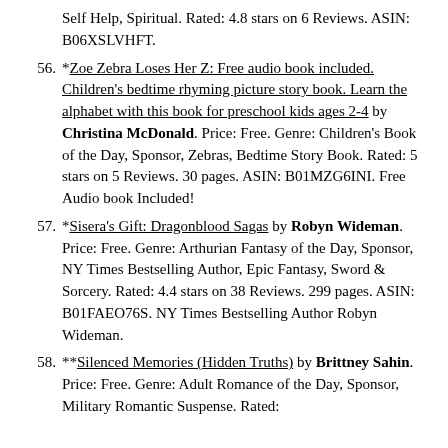Self Help, Spiritual. Rated: 4.8 stars on 6 Reviews. ASIN: B06XSLVHFT.
56. *Zoe Zebra Loses Her Z: Free audio book included. Children's bedtime rhyming picture story book. Learn the alphabet with this book for preschool kids ages 2-4 by Christina McDonald. Price: Free. Genre: Children's Book of the Day, Sponsor, Zebras, Bedtime Story Book. Rated: 5 stars on 5 Reviews. 30 pages. ASIN: B01MZG6INI. Free Audio book Included!
57. *Sisera's Gift: Dragonblood Sagas by Robyn Wideman. Price: Free. Genre: Arthurian Fantasy of the Day, Sponsor, NY Times Bestselling Author, Epic Fantasy, Sword & Sorcery. Rated: 4.4 stars on 38 Reviews. 299 pages. ASIN: B01FAEO76S. NY Times Bestselling Author Robyn Wideman.
58. **Silenced Memories (Hidden Truths) by Brittney Sahin. Price: Free. Genre: Adult Romance of the Day, Sponsor, Military Romantic Suspense. Rated: